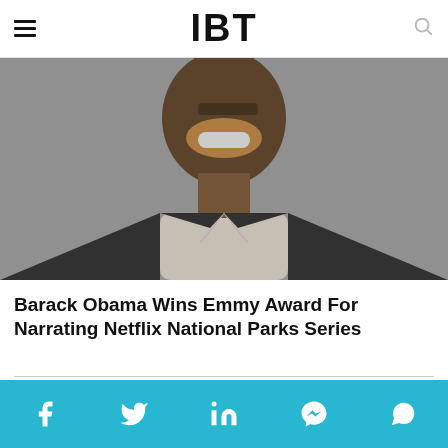IBT
[Figure (photo): Black and white photo of Barack Obama smiling, wearing a suit and open-collar shirt]
Barack Obama Wins Emmy Award For Narrating Netflix National Parks Series
PROMOTED CONTENT
[Figure (photo): Promotional content images strip showing various people]